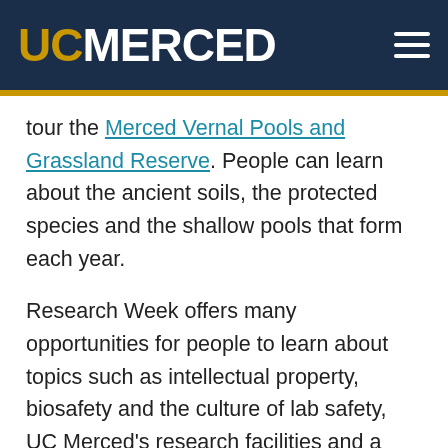UC MERCED
tour the Merced Vernal Pools and Grassland Reserve. People can learn about the ancient soils, the protected species and the shallow pools that form each year.
Research Week offers many opportunities for people to learn about topics such as intellectual property, biosafety and the culture of lab safety, UC Merced's research facilities and a variety of subjects faculty members specialize in.
New this year: faculty flash talks. Faculty will offer 15-minute sessions to share current projects for